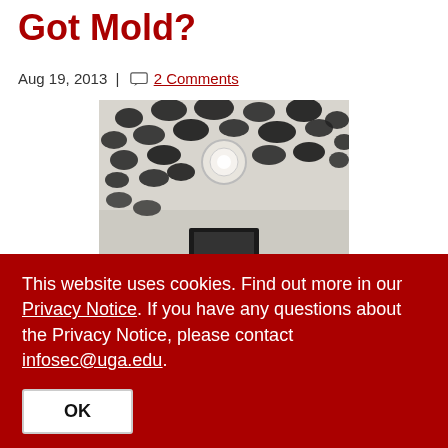Got Mold?
Aug 19, 2013 | 2 Comments
[Figure (photo): Ceiling covered with black mold spots, with a light fixture visible in the center]
Rain rain go away, come again another day. Better yet, go west to where the wildfires are burning. We have enough rain here in the southeast! As of August 18, Atlanta had received 46 inches of rain. Compare that to
This website uses cookies. Find out more in our Privacy Notice. If you have any questions about the Privacy Notice, please contact infosec@uga.edu.
OK